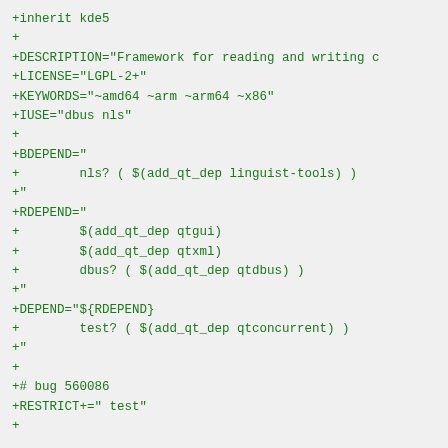+inherit kde5
+
+DESCRIPTION="Framework for reading and writing c
+LICENSE="LGPL-2+"
+KEYWORDS="~amd64 ~arm ~arm64 ~x86"
+IUSE="dbus nls"
+
+BDEPEND="
+        nls? ( $(add_qt_dep linguist-tools) )
+"
+RDEPEND="
+        $(add_qt_dep qtgui)
+        $(add_qt_dep qtxml)
+        dbus? ( $(add_qt_dep qtdbus) )
+"
+DEPEND="${RDEPEND}
+        test? ( $(add_qt_dep qtconcurrent) )
+"
+
+# bug 560086
+RESTRICT+=" test"
+